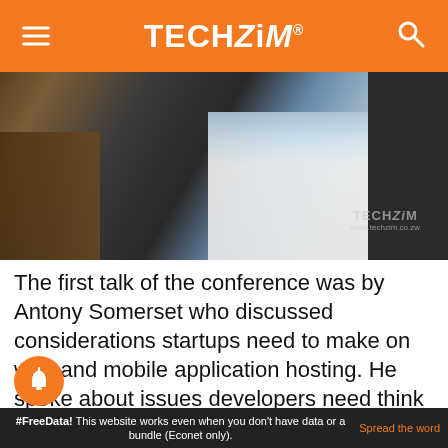TECHZiM
[Figure (photo): A person standing, wearing white cargo pants and a blue shirt, next to a wooden table with a laptop, in an industrial/conference setting. TECHZiM watermark visible.]
The first talk of the conference was by Antony Somerset who discussed considerations startups need to make on web and mobile application hosting. He spoke about issues developers need think about around best practice coding (using open source components, code maintainability, revision control systems), security and choosing hosting an app. We will be uploading his
#FreeData! This website works even when you don't have data or a bundle (Econet only).